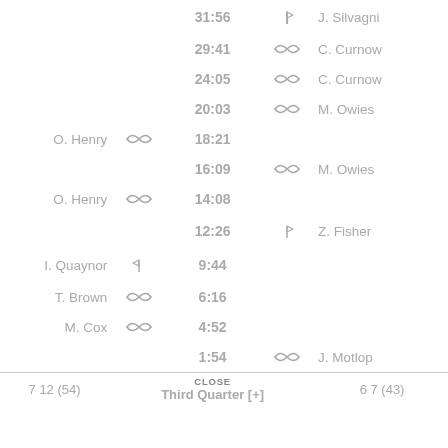| Left Player | Left Icon | Time | Right Icon | Right Player |
| --- | --- | --- | --- | --- |
|  |  | 31:56 | goal | J. Silvagni |
|  |  | 29:41 | behind | C. Curnow |
|  |  | 24:05 | behind | C. Curnow |
|  |  | 20:03 | behind | M. Owies |
| O. Henry | behind | 18:21 |  |  |
|  |  | 16:09 | behind | M. Owies |
| O. Henry | behind | 14:08 |  |  |
|  |  | 12:26 | goal | Z. Fisher |
| I. Quaynor | goal | 9:44 |  |  |
| T. Brown | behind | 6:16 |  |  |
| M. Cox | behind | 4:52 |  |  |
|  |  | 1:54 | behind | J. Motlop |
7 12 (54)   Third Quarter [+]   6 7 (43)